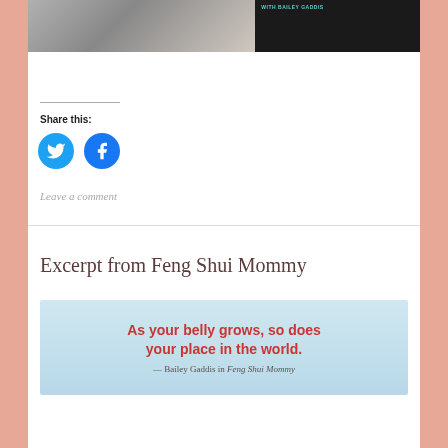[Figure (photo): Top cropped image showing a woman with blonde hair on the left side (black and white) and a dark background with teal text 'WITH BAILEY GADDIS' on the right side]
Share this:
[Figure (illustration): Twitter bird icon in a blue circle]
[Figure (illustration): Facebook f icon in a blue circle]
Leave a comment
Excerpt from Feng Shui Mommy
[Figure (illustration): Light blue background image with red bold text: 'As your belly grows, so does your place in the world.' and below in smaller text: '— Bailey Gaddis in Feng Shui Mommy']